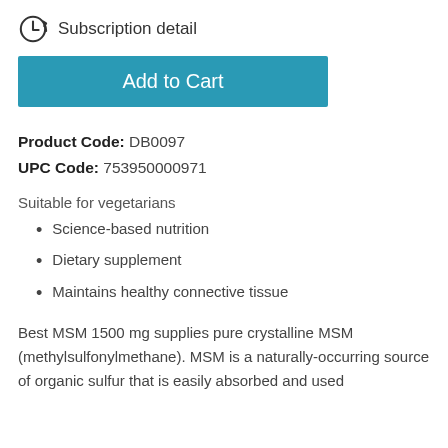Subscription detail
Add to Cart
Product Code: DB0097
UPC Code: 753950000971
Suitable for vegetarians
Science-based nutrition
Dietary supplement
Maintains healthy connective tissue
Best MSM 1500 mg supplies pure crystalline MSM (methylsulfonylmethane). MSM is a naturally-occurring source of organic sulfur that is easily absorbed and used